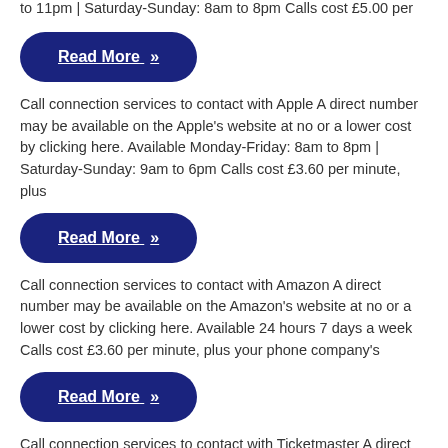to 11pm | Saturday-Sunday: 8am to 8pm Calls cost £5.00 per
Read More »
Call connection services to contact with Apple A direct number may be available on the Apple's website at no or a lower cost by clicking here. Available Monday-Friday: 8am to 8pm | Saturday-Sunday: 9am to 6pm Calls cost £3.60 per minute, plus
Read More »
Call connection services to contact with Amazon A direct number may be available on the Amazon's website at no or a lower cost by clicking here. Available 24 hours 7 days a week Calls cost £3.60 per minute, plus your phone company's
Read More »
Call connection services to contact with Ticketmaster A direct